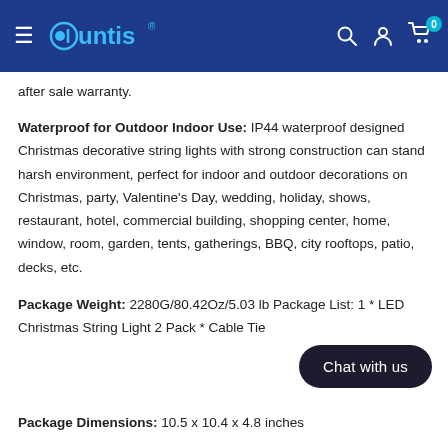Quntis — navigation header with hamburger menu, logo, search, account, cart (0)
after sale warranty.
Waterproof for Outdoor Indoor Use: IP44 waterproof designed Christmas decorative string lights with strong construction can stand harsh environment, perfect for indoor and outdoor decorations on Christmas, party, Valentine's Day, wedding, holiday, shows, restaurant, hotel, commercial building, shopping center, home, window, room, garden, tents, gatherings, BBQ, city rooftops, patio, decks, etc.
Package Weight: 2280G/80.42Oz/5.03 lb Package List: 1 * LED Christmas String Light 2 Pack * Cable Tie
Package Dimensions: 10.5 x 10.4 x 4.8 inches